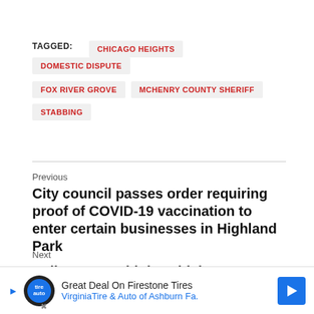TAGGED: CHICAGO HEIGHTS   DOMESTIC DISPUTE   FOX RIVER GROVE   MCHENRY COUNTY SHERIFF   STABBING
Previous
City council passes order requiring proof of COVID-19 vaccination to enter certain businesses in Highland Park
Next
Police say multiple vehicles burglarized, stolen overnight in Woodstock subdivision
[Figure (other): Advertisement banner: Great Deal On Firestone Tires - VirginiaTire & Auto of Ashburn Fa.]